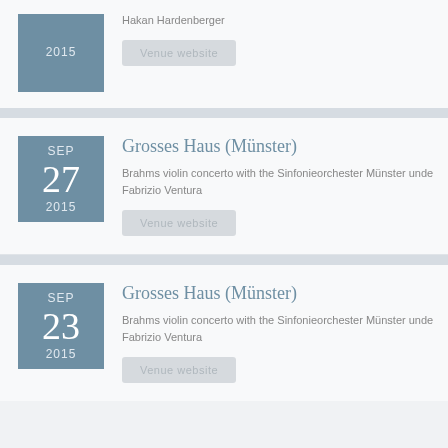Hakan Hardenberger
Venue website
Grosses Haus (Münster)
SEP 27 2015
Brahms violin concerto with the Sinfonieorchester Münster under Fabrizio Ventura
Venue website
Grosses Haus (Münster)
SEP 23 2015
Brahms violin concerto with the Sinfonieorchester Münster under Fabrizio Ventura
Venue website